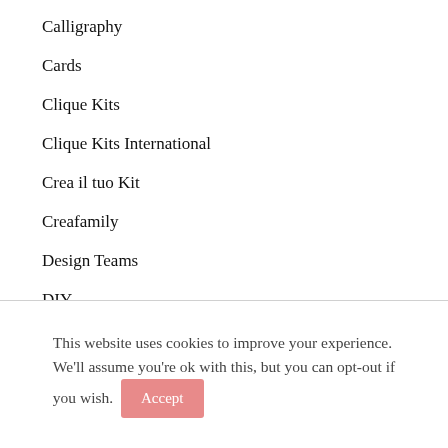Calligraphy
Cards
Clique Kits
Clique Kits International
Crea il tuo Kit
Creafamily
Design Teams
DIY
Docrafts
Flavir Design
Gift boxes
This website uses cookies to improve your experience. We'll assume you're ok with this, but you can opt-out if you wish. Accept